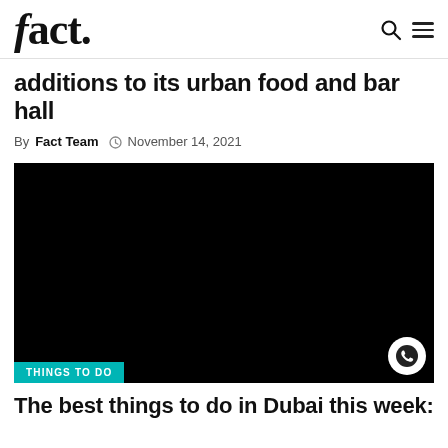fact.
additions to its urban food and bar hall
By Fact Team  November 14, 2021
[Figure (photo): Black image area with a teal 'THINGS TO DO' tag at the bottom left and a WhatsApp icon button at the bottom right]
The best things to do in Dubai this week: